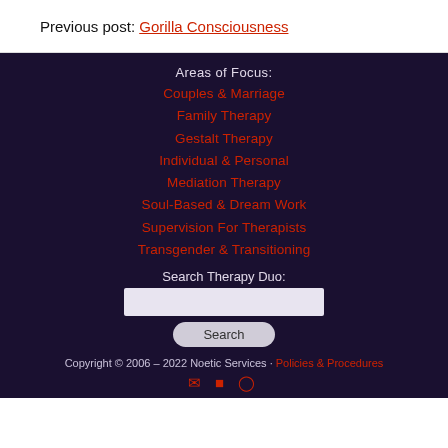Previous post: Gorilla Consciousness
Areas of Focus:
Couples & Marriage
Family Therapy
Gestalt Therapy
Individual & Personal
Mediation Therapy
Soul-Based & Dream Work
Supervision For Therapists
Transgender & Transitioning
Search Therapy Duo:
Copyright © 2006 – 2022 Noetic Services · Policies & Procedures